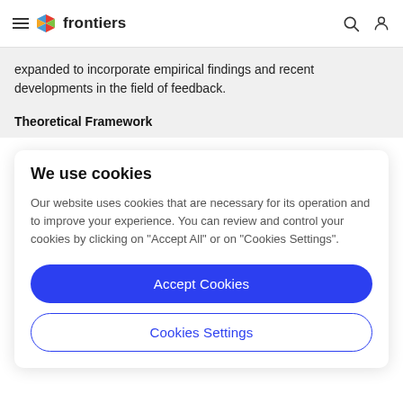frontiers
expanded to incorporate empirical findings and recent developments in the field of feedback.
Theoretical Framework
We use cookies
Our website uses cookies that are necessary for its operation and to improve your experience. You can review and control your cookies by clicking on "Accept All" or on "Cookies Settings".
Accept Cookies
Cookies Settings